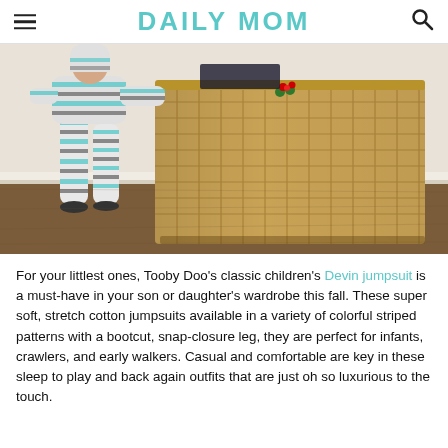DAILY MOM
[Figure (photo): A toddler in a colorful blue and grey striped jumpsuit standing in front of a large woven wicker basket on a wooden floor. The basket has a small Christmas decoration on it.]
For your littlest ones, Tooby Doo's classic children's Devin jumpsuit is a must-have in your son or daughter's wardrobe this fall. These super soft, stretch cotton jumpsuits available in a variety of colorful striped patterns with a bootcut, snap-closure leg, they are perfect for infants, crawlers, and early walkers. Casual and comfortable are key in these sleep to play and back again outfits that are just oh so luxurious to the touch.